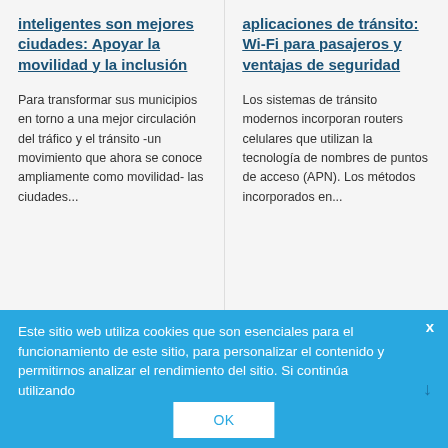inteligentes son mejores ciudades: Apoyar la movilidad y la inclusión
Para transformar sus municipios en torno a una mejor circulación del tráfico y el tránsito -un movimiento que ahora se conoce ampliamente como movilidad- las ciudades...
aplicaciones de tránsito: Wi-Fi para pasajeros y ventajas de seguridad
Los sistemas de tránsito modernos incorporan routers celulares que utilizan la tecnología de nombres de puntos de acceso (APN). Los métodos incorporados en...
Este sitio web utiliza cookies que son esenciales para el funcionamiento de este sitio, para personalizar el contenido y permitirnos analizar el rendimiento del sitio. Si continúa utilizando